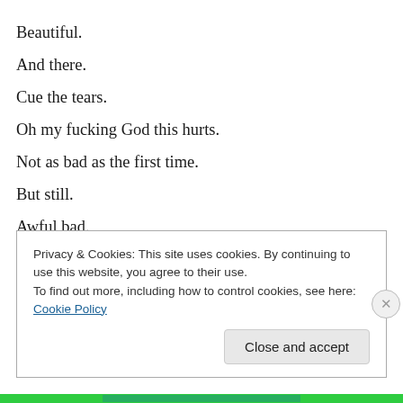Beautiful.
And there.
Cue the tears.
Oh my fucking God this hurts.
Not as bad as the first time.
But still.
Awful bad.
Privacy & Cookies: This site uses cookies. By continuing to use this website, you agree to their use.
To find out more, including how to control cookies, see here: Cookie Policy